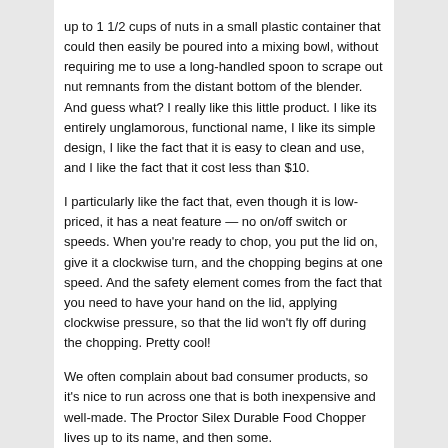up to 1 1/2 cups of nuts in a small plastic container that could then easily be poured into a mixing bowl, without requiring me to use a long-handled spoon to scrape out nut remnants from the distant bottom of the blender.  And guess what?  I really like this little product.  I like its entirely unglamorous, functional name, I like its simple design, I like the fact that it is easy to clean and use, and I like the fact that it cost less than $10.
I particularly like the fact that, even though it is low-priced, it has a neat feature — no on/off switch or speeds.  When you're ready to chop, you put the lid on, give it a clockwise turn, and the chopping begins at one speed.  And the safety element comes from the fact that you need to have your hand on the lid, applying clockwise pressure, so that the lid won't fly off during the chopping.  Pretty cool!
We often complain about bad consumer products, so it's nice to run across one that is both inexpensive and well-made.  The Proctor Silex Durable Food Chopper lives up to its name, and then some.